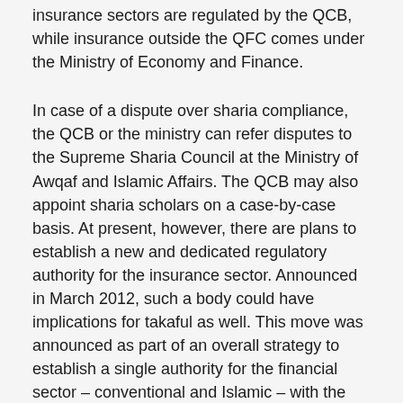insurance sectors are regulated by the QCB, while insurance outside the QFC comes under the Ministry of Economy and Finance.
In case of a dispute over sharia compliance, the QCB or the ministry can refer disputes to the Supreme Sharia Council at the Ministry of Awqaf and Islamic Affairs. The QCB may also appoint sharia scholars on a case-by-case basis. At present, however, there are plans to establish a new and dedicated regulatory authority for the insurance sector. Announced in March 2012, such a body could have implications for takaful as well. This move was announced as part of an overall strategy to establish a single authority for the financial sector – conventional and Islamic – with the new insurance body likely to fall under its purview.
The single regulator would take on the supervisory roles of the QCB, the QFC Regulation Authority (QFCRA) and the Qatar Financial Markets Authority. In March 2012, the QCB governor took over as chair of the QFCRA, a sign of progress in this unification, which some believe may occur before the end of